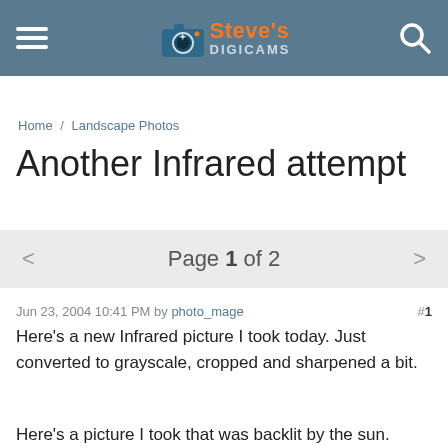Steve's DIGICAMS
Home / Landscape Photos
Another Infrared attempt
< Page 1 of 2 >
Jun 23, 2004 10:41 PM by photo_mage  #1
Here's a new Infrared picture I took today. Just converted to grayscale, cropped and sharpened a bit.
Here's a picture I took that was backlit by the sun.